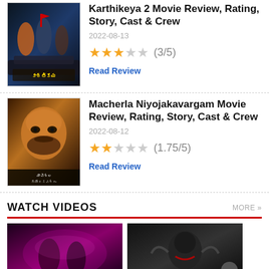[Figure (photo): Movie poster for Karthikeya 2 showing action figures and Telugu title text]
Karthikeya 2 Movie Review, Rating, Story, Cast & Crew
2022-08-13
★★★☆☆ (3/5)
Read Review
[Figure (photo): Movie poster for Macherla Niyojakavargam showing a close-up of a fierce-looking actor]
Macherla Niyojakavargam Movie Review, Rating, Story, Cast & Crew
2022-08-12
★★☆☆☆ (1.75/5)
Read Review
WATCH VIDEOS
[Figure (photo): Video thumbnail showing a couple in a purple-lit scene]
[Figure (photo): Video thumbnail showing a dark-armored character]